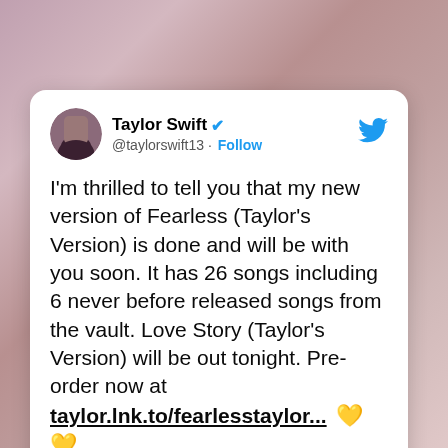[Figure (screenshot): Twitter/X background with blurred pinkish-red hues]
Taylor Swift @taylorswift13 · Follow
I'm thrilled to tell you that my new version of Fearless (Taylor's Version) is done and will be with you soon. It has 26 songs including 6 never before released songs from the vault. Love Story (Taylor's Version) will be out tonight. Pre-order now at taylor.lnk.to/fearlesstaylor... 💛💛
[Figure (photo): Album artwork preview for Fearless (Taylor's Version) showing Taylor Swift with golden/brown tones and text excerpt on the right side]